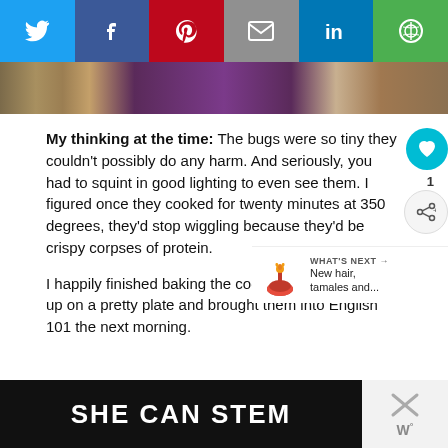[Figure (screenshot): Social media share bar with Twitter, Facebook, Pinterest, Email, LinkedIn, and one additional share button icons on colored backgrounds]
[Figure (photo): Partial photo showing a person in purple sparkly clothing with a pearl necklace]
My thinking at the time: The bugs were so tiny they couldn't possibly do any harm. And seriously, you had to squint in good lighting to even see them. I figured once they cooked for twenty minutes at 350 degrees, they'd stop wiggling because they'd be crispy corpses of protein.
I happily finished baking the cookies, wrapped them up on a pretty plate and brought them into English 101 the next morning.
[Figure (infographic): What's Next promo showing an ornament image and text 'New hair, tamales and...']
[Figure (screenshot): SHE CAN STEM advertisement banner in dark background with close button]